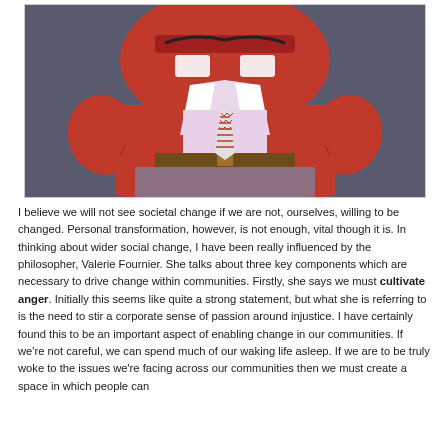[Figure (photo): A red fuzzy cartoon character (Anger from Pixar's Inside Out) wearing a white dress shirt, tie with red and grey zigzag pattern, brown belt, and mauve/grey trousers. The character is viewed from approximately chest-level, showing a wide square body with stubby arms. Background is dark grey/blue.]
I believe we will not see societal change if we are not, ourselves, willing to be changed. Personal transformation, however, is not enough, vital though it is. In thinking about wider social change, I have been really influenced by the philosopher, Valerie Fournier. She talks about three key components which are necessary to drive change within communities. Firstly, she says we must cultivate anger. Initially this seems like quite a strong statement, but what she is referring to is the need to stir a corporate sense of passion around injustice. I have certainly found this to be an important aspect of enabling change in our communities. If we're not careful, we can spend much of our waking life asleep. If we are to be truly woke to the issues we're facing across our communities then we must create a space in which people can